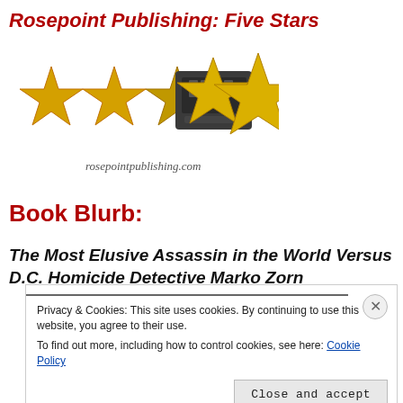Rosepoint Publishing: Five Stars
[Figure (illustration): Five gold stars with a vintage typewriter in the background and 'rosepointpublishing.com' text below]
Book Blurb:
The Most Elusive Assassin in the World Versus D.C. Homicide Detective Marko Zorn
Privacy & Cookies: This site uses cookies. By continuing to use this website, you agree to their use.
To find out more, including how to control cookies, see here: Cookie Policy
Close and accept